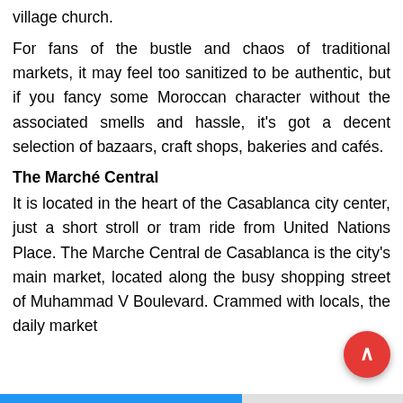village church.
For fans of the bustle and chaos of traditional markets, it may feel too sanitized to be authentic, but if you fancy some Moroccan character without the associated smells and hassle, it's got a decent selection of bazaars, craft shops, bakeries and cafés.
The Marché Central
It is located in the heart of the Casablanca city center, just a short stroll or tram ride from United Nations Place. The Marche Central de Casablanca is the city's main market, located along the busy shopping street of Muhammad V Boulevard. Crammed with locals, the daily market